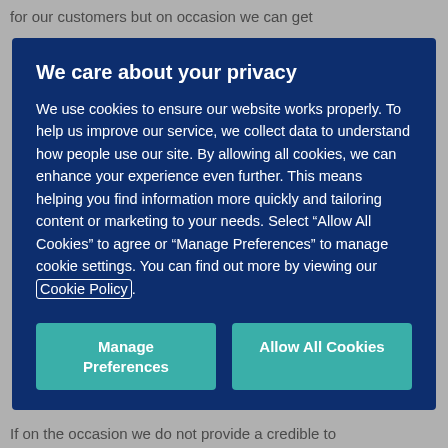for our customers but on occasion we can get
We care about your privacy
We use cookies to ensure our website works properly. To help us improve our service, we collect data to understand how people use our site. By allowing all cookies, we can enhance your experience even further. This means helping you find information more quickly and tailoring content or marketing to your needs. Select “Allow All Cookies” to agree or “Manage Preferences” to manage cookie settings. You can find out more by viewing our Cookie Policy.
Manage Preferences
Allow All Cookies
If on the occasion we do not provide a credible to